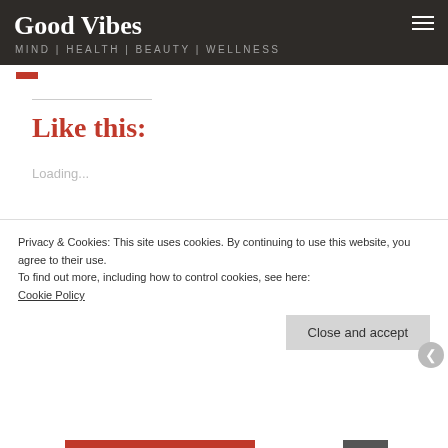Good Vibes
MIND | HEALTH | BEAUTY | WELLNESS
Like this:
Loading...
Privacy & Cookies: This site uses cookies. By continuing to use this website, you agree to their use.
To find out more, including how to control cookies, see here:
Cookie Policy
Close and accept